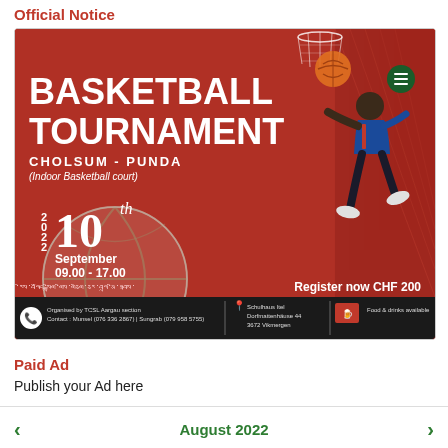Official Notice
[Figure (infographic): Basketball Tournament poster with red background, player dunking, basketball, Tibetan text, date 10th September 09.00-17.00, venue Cholsum-Punda Indoor Basketball court, Register now CHF 200, footer with contact info and location.]
Paid Ad
Publish your Ad here
[Figure (infographic): Navigation bar showing August 2022 with left and right green arrows]